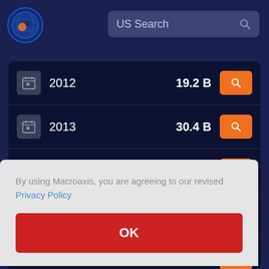[Figure (screenshot): Macroaxis web app header with logo and US Search bar]
| Year | Value | Action |
| --- | --- | --- |
| 2012 | 19.2 B | Search |
| 2013 | 30.4 B | Search |
By using Macroaxis, you are agreeing to our revised Privacy Policy
OK